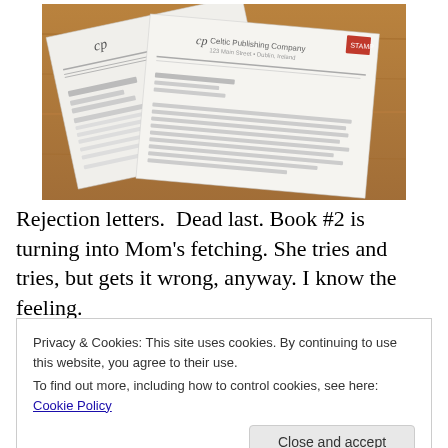[Figure (photo): Photograph of two rejection letters on a wooden surface, each with a 'cp' letterhead logo and text, one partially overlapping the other.]
Rejection letters.  Dead last. Book #2 is turning into Mom's fetching. She tries and tries, but gets it wrong, anyway. I know the feeling.
Privacy & Cookies: This site uses cookies. By continuing to use this website, you agree to their use.
To find out more, including how to control cookies, see here: Cookie Policy

[Close and accept]